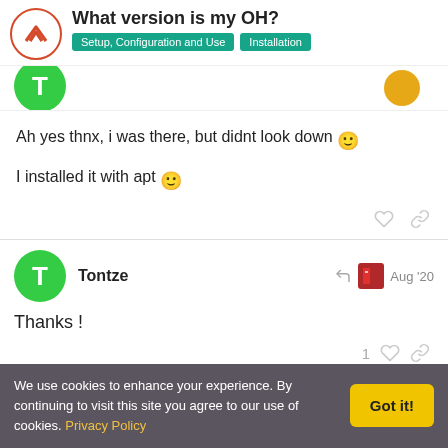What version is my OH? | Setup, Configuration and Use | Installation
Ah yes thnx, i was there, but didnt look down 🙂
I installed it with apt 🙂
Tontze  Aug '20
Thanks !
We use cookies to enhance your experience. By continuing to visit this site you agree to our use of cookies. Privacy Policy